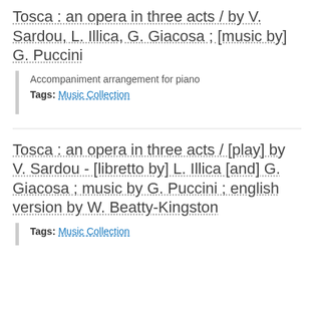Tosca : an opera in three acts / by V. Sardou, L. Illica, G. Giacosa ; [music by] G. Puccini
Accompaniment arrangement for piano
Tags: Music Collection
Tosca : an opera in three acts / [play] by V. Sardou - [libretto by] L. Illica [and] G. Giacosa ; music by G. Puccini ; english version by W. Beatty-Kingston
Tags: Music Collection